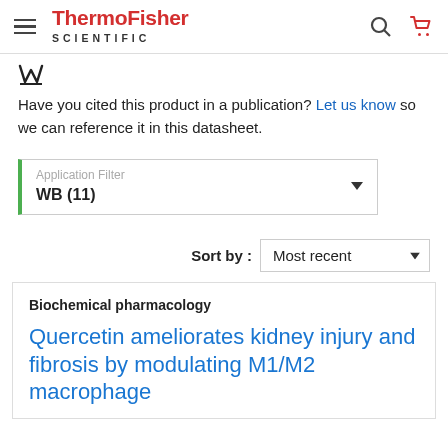ThermoFisher SCIENTIFIC
[Figure (logo): W bookmark icon]
Have you cited this product in a publication? Let us know so we can reference it in this datasheet.
Application Filter
WB (11)
Sort by : Most recent
Biochemical pharmacology
Quercetin ameliorates kidney injury and fibrosis by modulating M1/M2 macrophage